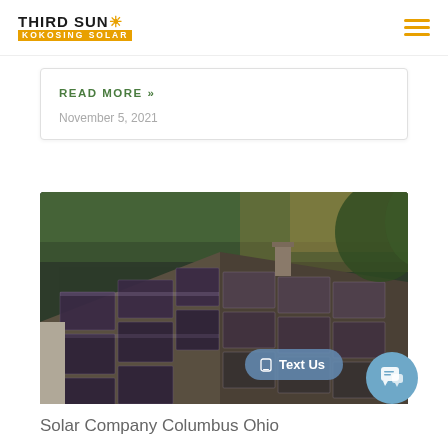THIRD SUN KOKOSING SOLAR
READ MORE »
November 5, 2021
[Figure (photo): Aerial view of solar panels installed on a residential rooftop surrounded by trees]
Text Us
Solar Company Columbus Ohio